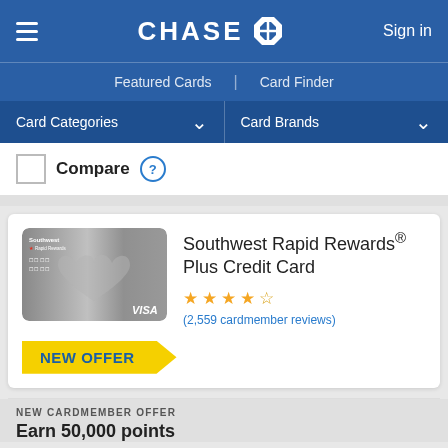CHASE — Sign in
Featured Cards | Card Finder
Card Categories ▼   Card Brands ▼
Compare ?
Southwest Rapid Rewards® Plus Credit Card
(2,559 cardmember reviews)
NEW OFFER
NEW CARDMEMBER OFFER
Earn 50,000 points